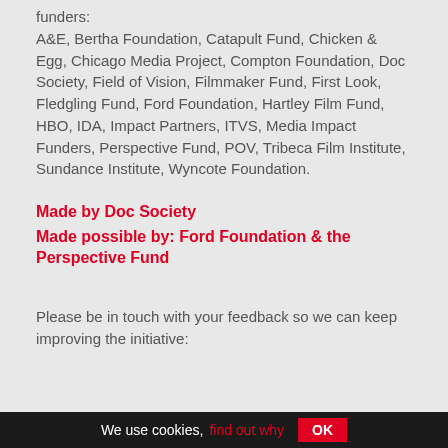funders: A&E, Bertha Foundation, Catapult Fund, Chicken & Egg, Chicago Media Project, Compton Foundation, Doc Society, Field of Vision, Filmmaker Fund, First Look, Fledgling Fund, Ford Foundation, Hartley Film Fund, HBO, IDA, Impact Partners, ITVS, Media Impact Funders, Perspective Fund, POV, Tribeca Film Institute, Sundance Institute, Wyncote Foundation.
Made by Doc Society
Made possible by: Ford Foundation & the Perspective Fund
Please be in touch with your feedback so we can keep improving the initiative:
We use cookies, find out why   OK